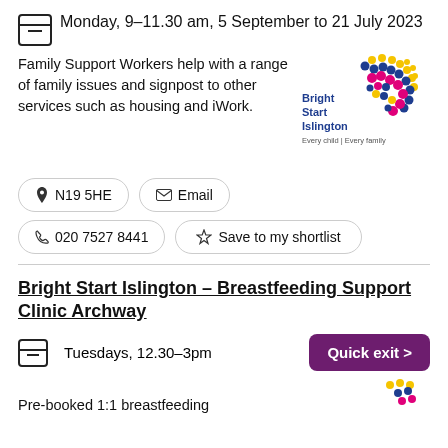Monday, 9-11.30 am, 5 September to 21 July 2023
Family Support Workers help with a range of family issues and signpost to other services such as housing and iWork.
[Figure (logo): Bright Start Islington logo - colourful dot pattern with text 'Bright Start Islington - Every child | Every family']
N19 5HE
Email
020 7527 8441
Save to my shortlist
Bright Start Islington - Breastfeeding Support Clinic Archway
Tuesdays, 12.30-3pm
Quick exit >
Pre-booked 1:1 breastfeeding